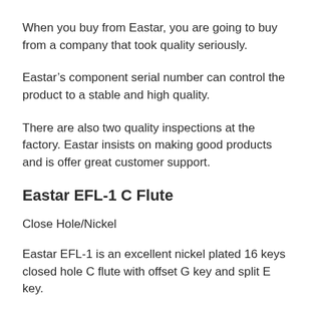When you buy from Eastar, you are going to buy from a company that took quality seriously.
Eastar’s component serial number can control the product to a stable and high quality.
There are also two quality inspections at the factory. Eastar insists on making good products and is offer great customer support.
Eastar EFL-1 C Flute
Close Hole/Nickel
Eastar EFL-1 is an excellent nickel plated 16 keys closed hole C flute with offset G key and split E key.